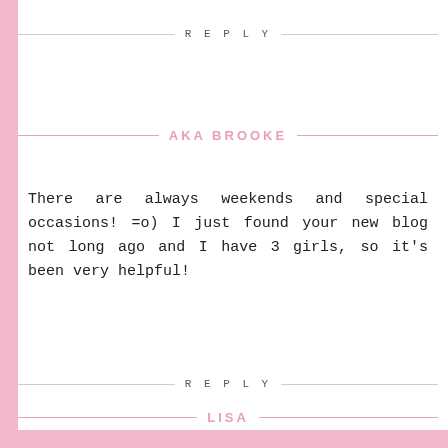REPLY
AKA BROOKE
There are always weekends and special occasions! =o) I just found your new blog not long ago and I have 3 girls, so it's been very helpful!
REPLY
LISA
I absolutely LOVE your blog, and I would